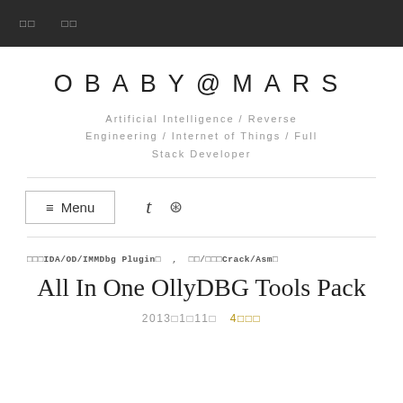□□   □□
OBABY@MARS
Artificial Intelligence / Reverse Engineering / Internet of Things / Full Stack Developer
≡ Menu   t  ◈
□□□IDA/OD/IMMDbg Plugin□ , □□/□□□Crack/Asm□
All In One OllyDBG Tools Pack
2013□1□11□   4□□□